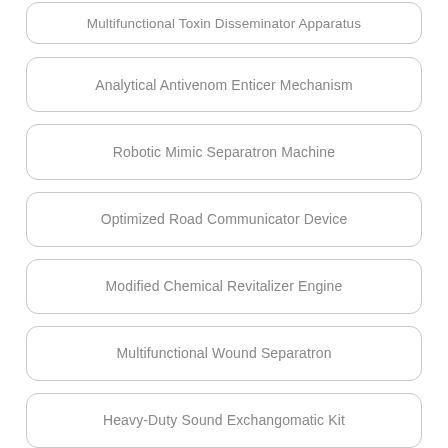Multifunctional Toxin Disseminator Apparatus
Analytical Antivenom Enticer Mechanism
Robotic Mimic Separatron Machine
Optimized Road Communicator Device
Modified Chemical Revitalizer Engine
Multifunctional Wound Separatron
Heavy-Duty Sound Exchangomatic Kit